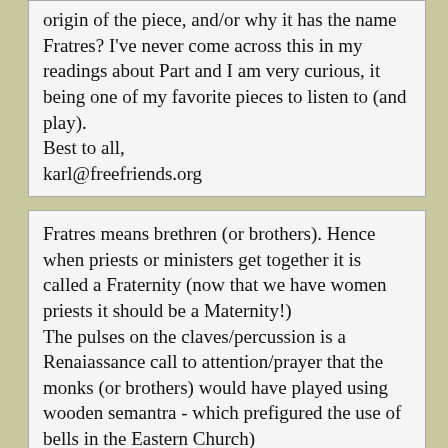origin of the piece, and/or why it has the name Fratres? I've never come across this in my readings about Part and I am very curious, it being one of my favorite pieces to listen to (and play).
Best to all,
karl@freefriends.org
Fratres means brethren (or brothers). Hence when priests or ministers get together it is called a Fraternity (now that we have women priests it should be a Maternity!)
The pulses on the claves/percussion is a Renaiassance call to attention/prayer that the monks (or brothers) would have played using wooden semantra - which prefigured the use of bells in the Eastern Church)